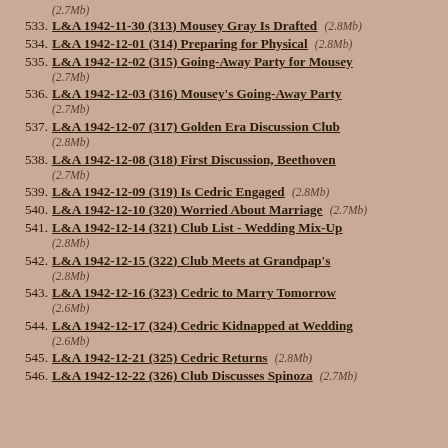(2.7Mb)
533. L&A 1942-11-30 (313) Mousey Gray Is Drafted (2.8Mb)
534. L&A 1942-12-01 (314) Preparing for Physical (2.8Mb)
535. L&A 1942-12-02 (315) Going-Away Party for Mousey (2.7Mb)
536. L&A 1942-12-03 (316) Mousey's Going-Away Party (2.7Mb)
537. L&A 1942-12-07 (317) Golden Era Discussion Club (2.8Mb)
538. L&A 1942-12-08 (318) First Discussion, Beethoven (2.7Mb)
539. L&A 1942-12-09 (319) Is Cedric Engaged (2.8Mb)
540. L&A 1942-12-10 (320) Worried About Marriage (2.7Mb)
541. L&A 1942-12-14 (321) Club List - Wedding Mix-Up (2.8Mb)
542. L&A 1942-12-15 (322) Club Meets at Grandpap's (2.8Mb)
543. L&A 1942-12-16 (323) Cedric to Marry Tomorrow (2.6Mb)
544. L&A 1942-12-17 (324) Cedric Kidnapped at Wedding (2.6Mb)
545. L&A 1942-12-21 (325) Cedric Returns (2.8Mb)
546. L&A 1942-12-22 (326) Club Discusses Spinoza (2.7Mb)